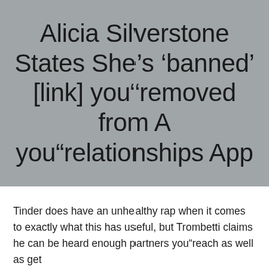Alicia Silverstone States She’s ‘banned’ [link] you”removed from A you”relationships App
Tinder does have an unhealthy rap when it comes to exactly what this has useful, but Trombetti claims he can be heard enough partners you”reach as well as get